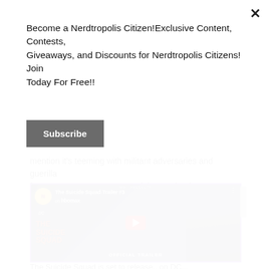mention it's teeming with militant adversaries and guerilla forces? One wrong move, and they're dead.
[Figure (screenshot): YouTube video thumbnail for 'The Suicide Squad Trailer #3' on HBO Max, showing Nerdtropolis logo, WB logo, play button, and movie title text 'THE SUICIDE SQUAD OFFICIAL TRAILER' with characters in background.]
The Suicide Squad is set to release...on DC...
Become a Nerdtropolis Citizen!Exclusive Content, Contests, Giveaways, and Discounts for Nerdtropolis Citizens! Join Today For Free!!
Subscribe